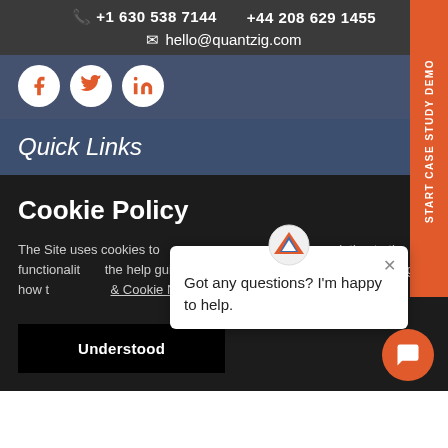+1 630 538 7144    +44 208 629 1455
hello@quantzig.com
[Figure (illustration): Social media icons: Facebook, Twitter, LinkedIn in white circles with orange icons]
Quick Links
Cookie Policy
The Site uses cookies to record users' preferences in relation to the functionality of the help guide of your browser. Our cookies, including how to & Cookie Notice.
Understood
[Figure (infographic): START CASE STUDY DEMO vertical tab on the right side in orange]
Got any questions? I'm happy to help.